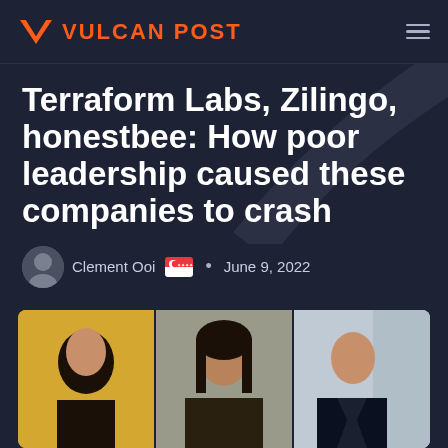VULCAN POST
Terraform Labs, Zilingo, honestbee: How poor leadership caused these companies to crash
Clement Ooi • June 9, 2022
[Figure (photo): Three portrait photos side by side: a man against a yellow background, a woman with long dark hair, and a man in a suit smiling]